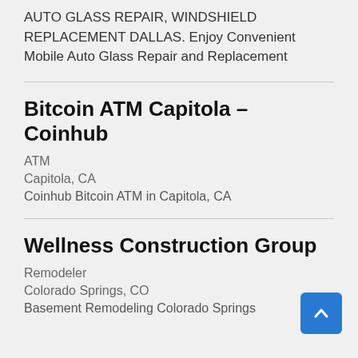AUTO GLASS REPAIR, WINDSHIELD REPLACEMENT DALLAS. Enjoy Convenient Mobile Auto Glass Repair and Replacement
Bitcoin ATM Capitola – Coinhub
ATM
Capitola, CA
Coinhub Bitcoin ATM in Capitola, CA
Wellness Construction Group
Remodeler
Colorado Springs, CO
Basement Remodeling Colorado Springs